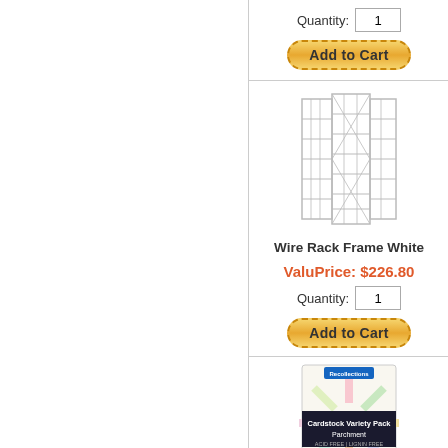Quantity: 1
[Figure (illustration): Add to Cart button - rounded gold/yellow button with dashed border]
[Figure (illustration): Wire Rack Frame White product image - line drawing of a white wire rack display frame with multiple shelves]
Wire Rack Frame White
ValuPrice: $226.80
Quantity: 1
[Figure (illustration): Add to Cart button - rounded gold/yellow button with dashed border]
[Figure (photo): Cardstock Variety Pack Parchment product image - package with colorful starburst design]